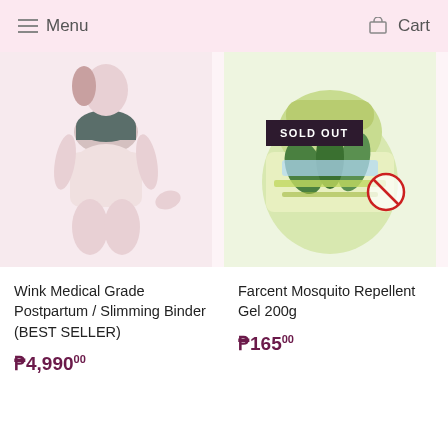Menu   Cart
[Figure (photo): Woman wearing white postpartum/slimming binder shapewear with dark sports bra top, on light pink background]
[Figure (photo): Farcent Mosquito Repellent Gel 200g container with green plant imagery, with SOLD OUT badge overlay]
Wink Medical Grade Postpartum / Slimming Binder (BEST SELLER)
₱4,990.00
Farcent Mosquito Repellent Gel 200g
₱165.00